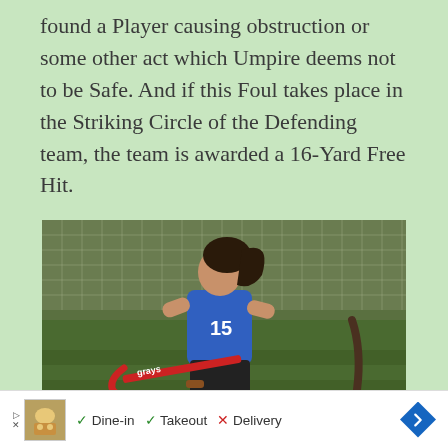found a Player causing obstruction or some other act which Umpire deems not to be Safe. And if this Foul takes place in the Striking Circle of the Defending team, the team is awarded a 16-Yard Free Hit.
[Figure (photo): A girl in a blue jersey numbered 15 running on a field hockey pitch carrying a Grays field hockey stick. Another player visible behind her. Green field and chain-link fence in background.]